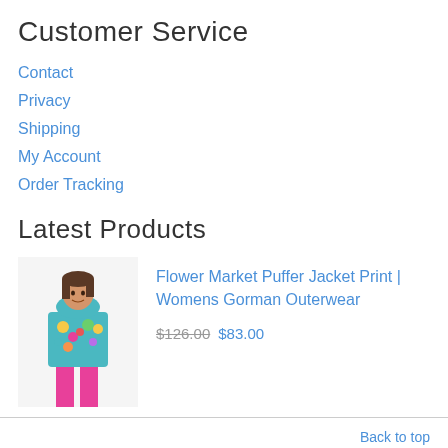Customer Service
Contact
Privacy
Shipping
My Account
Order Tracking
Latest Products
[Figure (photo): Woman wearing a colorful floral puffer jacket with pink pants]
Flower Market Puffer Jacket Print | Womens Gorman Outerwear
$126.00 $83.00
Back to top
Sparkhill DVD